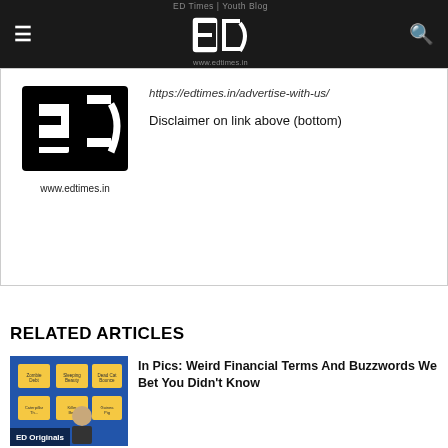ED Times | Youth Blog — www.edtimes.in
[Figure (logo): ED Times logo with www.edtimes.in URL]
https://edtimes.in/advertise-with-us/
Disclaimer on link above (bottom)
RELATED ARTICLES
[Figure (photo): Thumbnail for article about weird financial terms with sticky notes and a person]
In Pics: Weird Financial Terms And Buzzwords We Bet You Didn't Know
[Figure (photo): Thumbnail showing a man (Rishad Premji) speaking at an event]
Wipro's Rishad Premji Calls Moonlighting Cheating; What Do Tech Workers Think?